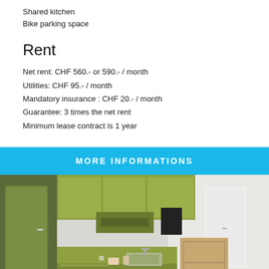Shared kitchen
Bike parking space
Rent
Net rent: CHF 560.- or 590.- / month
Utilities: CHF 95.- / month
Mandatory insurance : CHF 20.- / month
Guarantee: 3 times the net rent
Minimum lease contract is 1 year
MORE INFORMATIONS
[Figure (photo): Interior photo of a studio apartment showing a green kitchenette with cabinets, countertop, sink, and a wooden shelving unit to the right. A green door is visible on the left.]